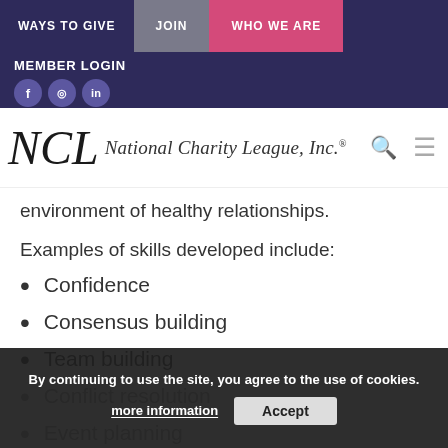WAYS TO GIVE | JOIN | WHO WE ARE | MEMBER LOGIN
[Figure (logo): National Charity League, Inc. logo with monogram and script text]
environment of healthy relationships.
Examples of skills developed include:
Confidence
Consensus building
Team building
Conflict resolution
Event planning
By continuing to use the site, you agree to the use of cookies. more information | Accept